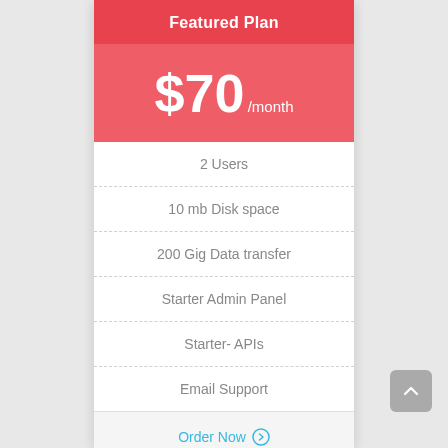Featured Plan
$70 /month
2 Users
10 mb Disk space
200 Gig Data transfer
Starter Admin Panel
Starter- APIs
Email Support
Order Now